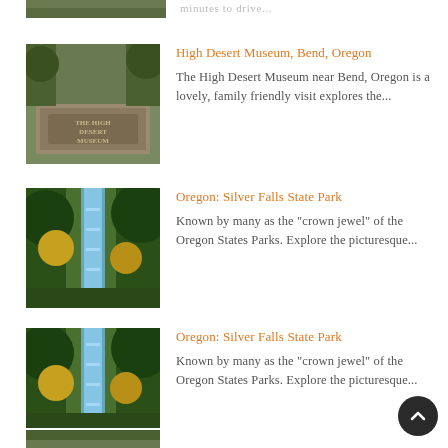[Figure (photo): Partial image of unknown subject at top of page (cropped)]
[Figure (photo): Stone sign reading 'The High Desert Museum' surrounded by trees]
High Desert Museum, Bend, Oregon
The High Desert Museum near Bend, Oregon is a lovely, family friendly visit explores the...
[Figure (photo): Waterfall flowing through green forest — Silver Falls State Park]
Oregon: Silver Falls State Park
Known by many as the "crown jewel" of the Oregon States Parks. Explore the picturesque...
[Figure (photo): Waterfall flowing through green forest — Silver Falls State Park (duplicate)]
Oregon: Silver Falls State Park
Known by many as the "crown jewel" of the Oregon States Parks. Explore the picturesque...
[Figure (photo): Partial image at bottom of page (cropped)]